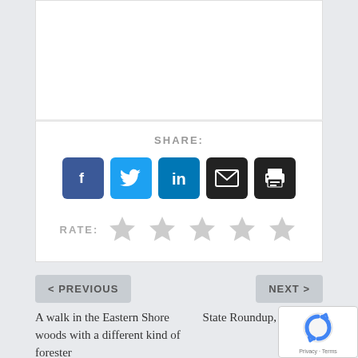[Figure (screenshot): Share section with social media icon buttons: Facebook (blue), Twitter (light blue), LinkedIn (dark blue), Email (black envelope), Print (black printer). Below is a RATE row with 5 gray star icons.]
< PREVIOUS
NEXT >
A walk in the Eastern Shore woods with a different kind of forester
State Roundup, February 9, 2018
ABOUT THE AUTHOR